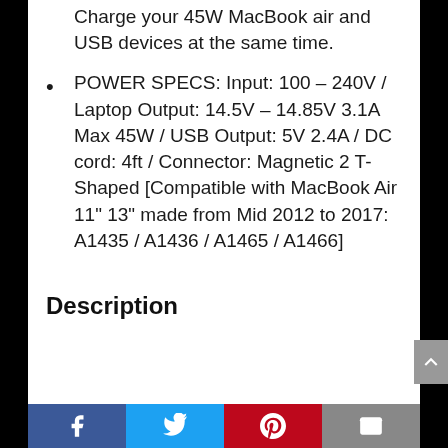Charge your 45W MacBook air and USB devices at the same time.
POWER SPECS: Input: 100 – 240V / Laptop Output: 14.5V – 14.85V 3.1A Max 45W / USB Output: 5V 2.4A / DC cord: 4ft / Connector: Magnetic 2 T-Shaped [Compatible with MacBook Air 11" 13" made from Mid 2012 to 2017: A1435 / A1436 / A1465 / A1466]
Description